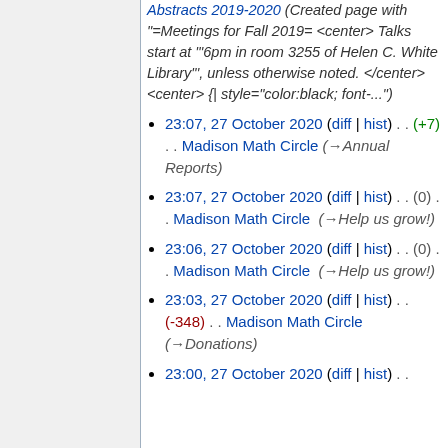Abstracts 2019-2020 (Created page with "=Meetings for Fall 2019= <center> Talks start at '"6pm in room 3255 of Helen C. White Library"', unless otherwise noted. </center> <center> {| style="color:black; font-...")
23:07, 27 October 2020 (diff | hist) . . (+7) . . Madison Math Circle (→Annual Reports)
23:07, 27 October 2020 (diff | hist) . . (0) . . Madison Math Circle (→Help us grow!)
23:06, 27 October 2020 (diff | hist) . . (0) . . Madison Math Circle (→Help us grow!)
23:03, 27 October 2020 (diff | hist) . . (-348) . . Madison Math Circle (→Donations)
23:00, 27 October 2020 (diff | hist) . .